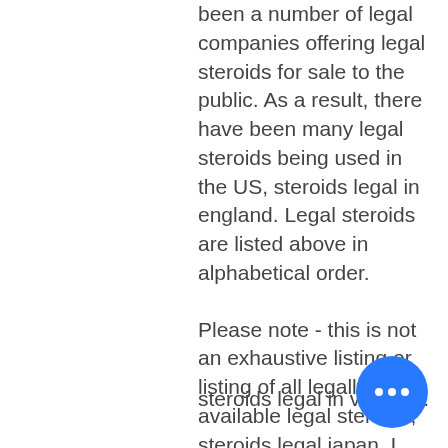been a number of legal companies offering legal steroids for sale to the public. As a result, there have been many legal steroids being used in the US, steroids legal in england. Legal steroids are listed above in alphabetical order.
Please note - this is not an exhaustive listing or listing of all legally available legal steroids, steroids legal japan. I have included an extensive collection of legal steroids for sale all over the world at the following web site :http://www.legalskins.us
Also check out http://www4drugs, steroids legal in vietnam.com/ for many other legal steroids for sale in the US, Canada, Canada, Italy, Netherlands, Netherlands, Portugal, Portugal, Spain, Spain, Italy and Belgium, steroids legal in vietnam.